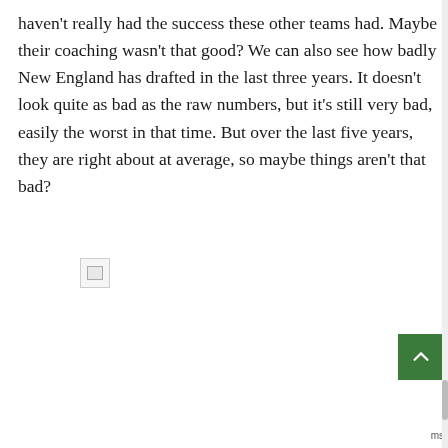haven't really had the success these other teams had. Maybe their coaching wasn't that good? We can also see how badly New England has drafted in the last three years. It doesn't look quite as bad as the raw numbers, but it's still very bad, easily the worst in that time. But over the last five years, they are right about at average, so maybe things aren't that bad?
[Figure (other): Broken/missing image placeholder icon]